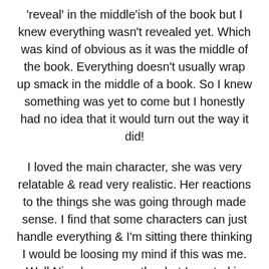'reveal' in the middle'ish of the book but I knew everything wasn't revealed yet. Which was kind of obvious as it was the middle of the book. Everything doesn't usually wrap up smack in the middle of a book. So I knew something was yet to come but I honestly had no idea that it would turn out the way it did!
I loved the main character, she was very relatable & read very realistic. Her reactions to the things she was going through made sense. I find that some characters can just handle everything & I'm sitting there thinking I would be loosing my mind if this was me. Well Niamh was exactly what I wanted in that respect. Did she scream & run away a couple times? yes! Did she have a full on